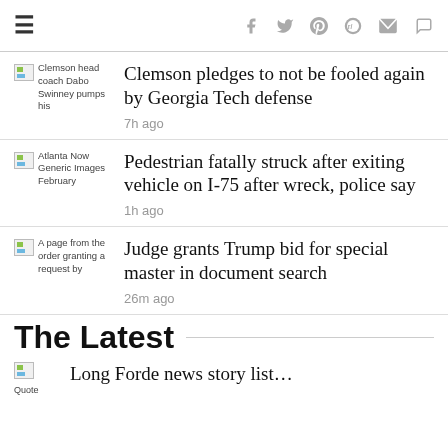≡ [social icons: Facebook, Twitter, Pinterest, Reddit, Mail, Comment]
[Figure (photo): Thumbnail of Clemson head coach Dabo Swinney pumping his fist]
Clemson pledges to not be fooled again by Georgia Tech defense
7h ago
[Figure (photo): Atlanta Now Generic Images February thumbnail]
Pedestrian fatally struck after exiting vehicle on I-75 after wreck, police say
1h ago
[Figure (photo): A page from the order granting a request by thumbnail]
Judge grants Trump bid for special master in document search
26m ago
The Latest